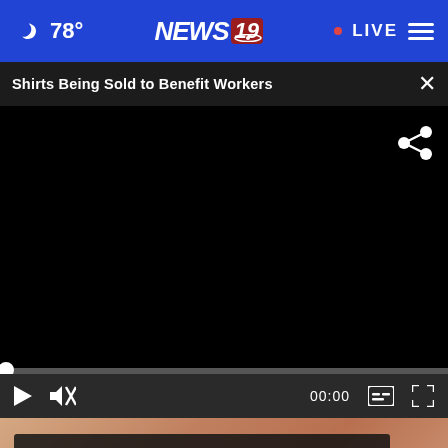78° NEWS19 • LIVE
Shirts Being Sold to Benefit Workers
[Figure (screenshot): Black video player area with share icon in upper right, video controls (play, mute, 00:00, captions, fullscreen) at bottom, progress bar with white circle handle at 0]
[Figure (photo): Partial image of texture/skin visible below video player; advertisement overlay reading 'Veterans, you're not alone.' with close button]